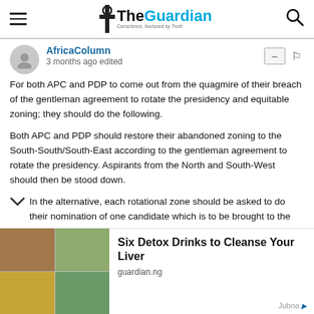The Guardian — navigation header
AfricaColumn
3 months ago edited
For both APC and PDP to come out from the quagmire of their breach of the gentleman agreement to rotate the presidency and equitable zoning; they should do the following.
Both APC and PDP should restore their abandoned zoning to the South-South/South-East according to the gentleman agreement to rotate the presidency. Aspirants from the North and South-West should then be stood down.
In the alternative, each rotational zone should be asked to do their nomination of one candidate which is to be brought to the nal convention to contest for the nomination of the party's
[Figure (photo): Advertisement image showing detox drinks — herbal teas and lemon drinks in cups and bowls, grid of 4 images]
Six Detox Drinks to Cleanse Your Liver
guardian.ng